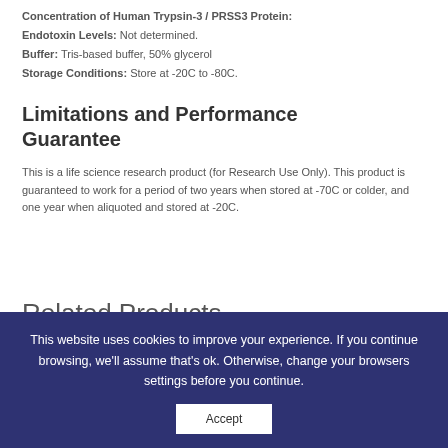Concentration of Human Trypsin-3 / PRSS3 Protein:
Endotoxin Levels: Not determined.
Buffer: Tris-based buffer, 50% glycerol
Storage Conditions: Store at -20C to -80C.
Limitations and Performance Guarantee
This is a life science research product (for Research Use Only). This product is guaranteed to work for a period of two years when stored at -70C or colder, and one year when aliquoted and stored at -20C.
Related Products
This website uses cookies to improve your experience. If you continue browsing, we'll assume that's ok. Otherwise, change your browsers settings before you continue.
Accept